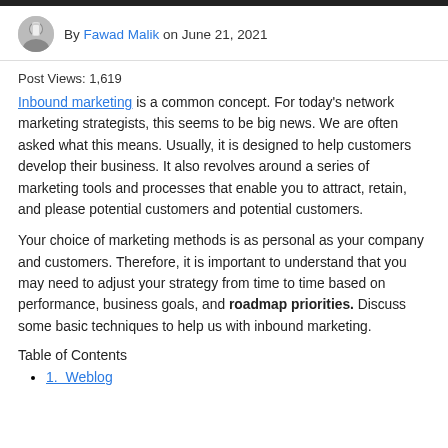By Fawad Malik on June 21, 2021
Post Views: 1,619
Inbound marketing is a common concept. For today's network marketing strategists, this seems to be big news. We are often asked what this means. Usually, it is designed to help customers develop their business. It also revolves around a series of marketing tools and processes that enable you to attract, retain, and please potential customers and potential customers.
Your choice of marketing methods is as personal as your company and customers. Therefore, it is important to understand that you may need to adjust your strategy from time to time based on performance, business goals, and roadmap priorities. Discuss some basic techniques to help us with inbound marketing.
Table of Contents
1.  Weblog